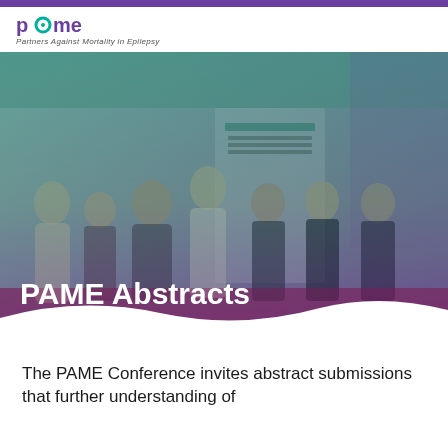PAME – Partners Against Mortality in Epilepsy
[Figure (photo): Group photo of approximately 8 people standing in front of PAME conference banners. The photo has a teal/green and purple duotone color treatment. The text 'PAME Abstracts' is overlaid in large white bold font at the bottom left of the image.]
The PAME Conference invites abstract submissions that further understanding of